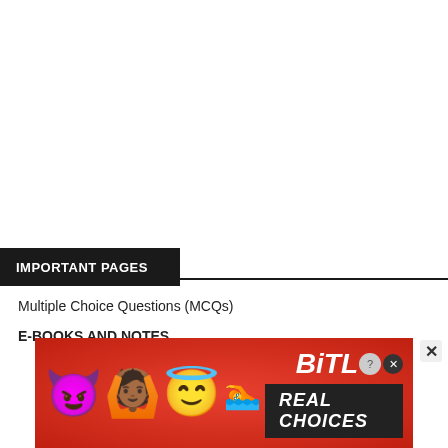IMPORTANT PAGES
Multiple Choice Questions (MCQs)
E-BOOKS AND NOTES
[Figure (illustration): BitLife game advertisement banner with emoji characters (devil, person with raised hands, angel face), sperm emoji, BitLife logo with question mark and X badges, and 'REAL CHOICES' text on dark background, all on red dotted background]